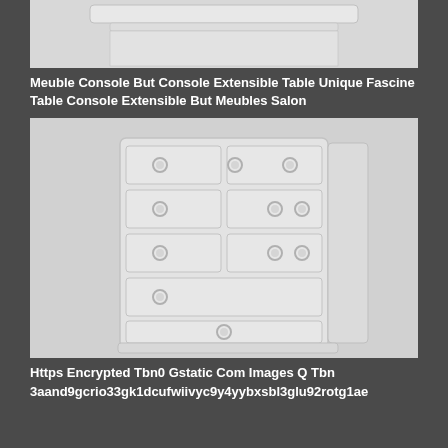[Figure (photo): Top portion of a white console/furniture piece, cropped at top showing surface and edges against light background]
Meuble Console But Console Extensible Table Unique Fascine Table Console Extensible But Meubles Salon
[Figure (photo): White chest of drawers with multiple drawers arranged in rows, ring pull handles, on a light gray background]
Https Encrypted Tbn0 Gstatic Com Images Q Tbn 3aand9gcrio33gk1dcufwiivyc9y4yybxsbl3glu92rotg1ae